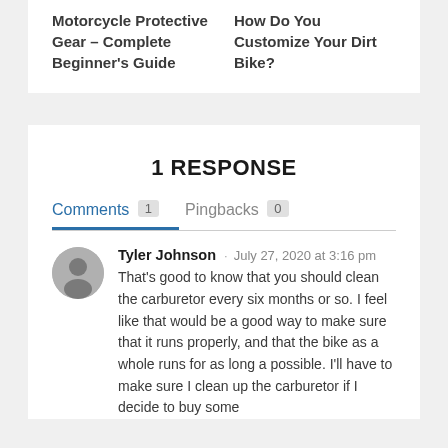Motorcycle Protective Gear – Complete Beginner's Guide
How Do You Customize Your Dirt Bike?
1 RESPONSE
Comments 1   Pingbacks 0
Tyler Johnson · July 27, 2020 at 3:16 pm
That's good to know that you should clean the carburetor every six months or so. I feel like that would be a good way to make sure that it runs properly, and that the bike as a whole runs for as long a possible. I'll have to make sure I clean up the carburetor if I decide to buy some